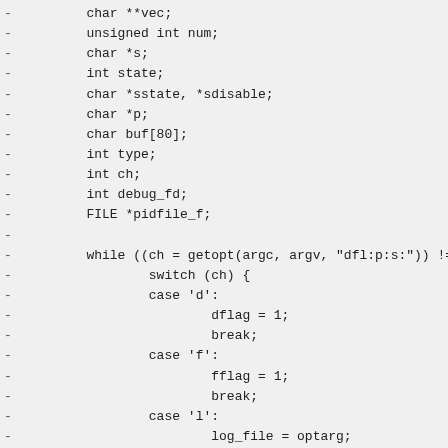- char **vec;
- unsigned int num;
- char *s;
- int state;
- char *sstate, *sdisable;
- char *p;
- char buf[80];
- int type;
- int ch;
- int debug_fd;
- FILE *pidfile_f;
-
- while ((ch = getopt(argc, argv, "dfl:p:s:")) != -1) {
-         switch (ch) {
-         case 'd':
-                 dflag = 1;
-                 break;
-         case 'f':
-                 fflag = 1;
-                 break;
-         case 'l':
-                 log_file = optarg;
-                 break;
-         case 'p':
-                 pidfile = optarg;